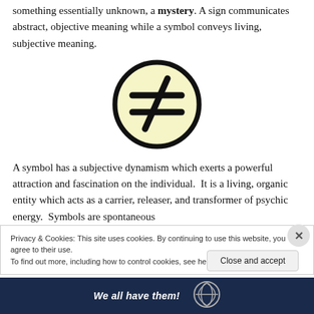something essentially unknown, a mystery. A sign communicates abstract, objective meaning while a symbol conveys living, subjective meaning.
[Figure (illustration): Circle with yellow/cream fill containing a not-equal sign (≠), thick black border]
A symbol has a subjective dynamism which exerts a powerful attraction and fascination on the individual. It is a living, organic entity which acts as a carrier, releaser, and transformer of psychic energy. Symbols are spontaneous
Privacy & Cookies: This site uses cookies. By continuing to use this website, you agree to their use.
To find out more, including how to control cookies, see here: Cookie Policy
Close and accept
We all have them!